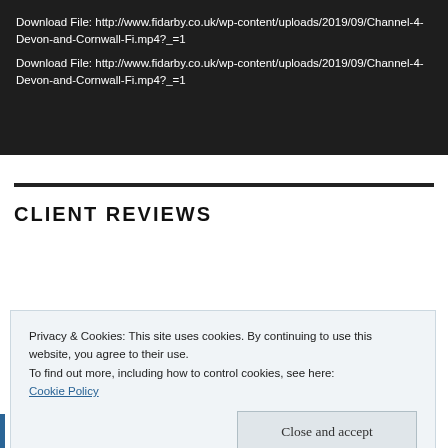[Figure (screenshot): Dark background box showing two download file links to http://www.fidarby.co.uk/wp-content/uploads/2019/09/Channel-4-Devon-and-Cornwall-Fi.mp4?_=1]
Download File: http://www.fidarby.co.uk/wp-content/uploads/2019/09/Channel-4-Devon-and-Cornwall-Fi.mp4?_=1
Download File: http://www.fidarby.co.uk/wp-content/uploads/2019/09/Channel-4-Devon-and-Cornwall-Fi.mp4?_=1
CLIENT REVIEWS
Privacy & Cookies: This site uses cookies. By continuing to use this website, you agree to their use.
To find out more, including how to control cookies, see here:
Cookie Policy
Close and accept
excellent writing skills, is